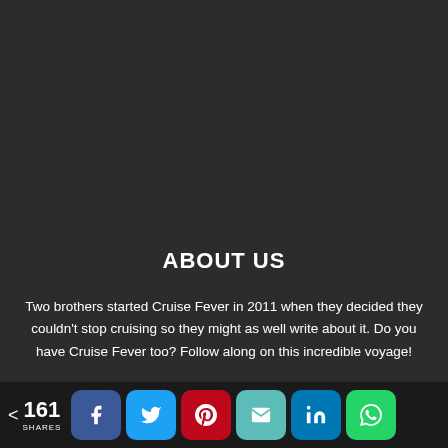ABOUT US
Two brothers started Cruise Fever in 2011 when they decided they couldn't stop cruising so they might as well write about it. Do you have Cruise Fever too? Follow along on this incredible voyage!
[Figure (screenshot): Ad overlay with search bar showing 'Search for' and result '1. BEST CRUISE DEALS FOR SENIORS' with arrow]
< 161 SHARES
[Figure (infographic): Social share buttons: Facebook, Twitter, Pinterest, Email, LinkedIn, WhatsApp]